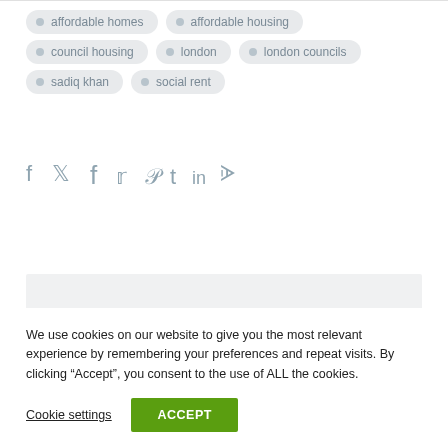affordable homes
affordable housing
council housing
london
london councils
sadiq khan
social rent
[Figure (other): Social share icons: Facebook, Twitter, Pinterest, Tumblr, LinkedIn, Reddit]
[Figure (other): Gray placeholder box (advertisement or image area)]
We use cookies on our website to give you the most relevant experience by remembering your preferences and repeat visits. By clicking “Accept”, you consent to the use of ALL the cookies.
Cookie settings
ACCEPT